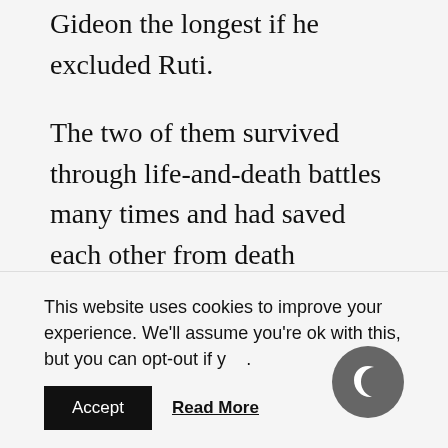Gideon the longest if he excluded Ruti.
The two of them survived through life-and-death battles many times and had saved each other from death countless times.
This website uses cookies to improve your experience. We'll assume you're ok with this, but you can opt-out if yo...
Accept
Read More